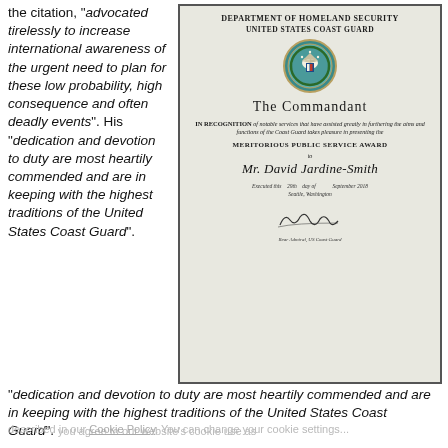the citation, "advocated tirelessly to increase international awareness of the urgent need to plan for these low probability, high consequence and often deadly events". His "dedication and devotion to duty are most heartily commended and are in keeping with the highest traditions of the United States Coast Guard".
[Figure (photo): Photo of a US Coast Guard Meritorious Public Service Award certificate presented to Mr. David Jardine-Smith, framed with dark border, showing the Department of Homeland Security United States Coast Guard seal, signed by the Rear Admiral, US Coast Guard, executed 29th day of September 2018, Seattle, Washington.]
you agree to our website's cookie use as described in our Cookie Policy. You can change your cookie settings...